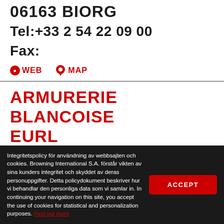06163 BIORG
Tel:+33 2 54 22 09 00
Fax:
WEB  MAP
ARMURERIE BLANCOISE EURL
7,ALLEE G.MONGE-ZI DAUBOURGS
Integritetspolicy för användning av webbsajten och cookies. Browning International S.A. förstår vikten av sina kunders integritet och skyddet av deras personuppgifter. Detta policydokument beskriver hur vi behandlar den personliga data som vi samlar in. In continuing your navigation on this site, you accept the use of cookies for statistical and personalization purposes. Find out more